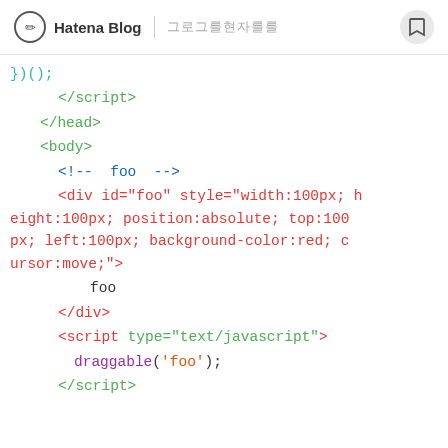Hatena Blog | ブログをはじめる
[Figure (screenshot): Code snippet shown in a blog post on Hatena Blog, displaying HTML/JavaScript code with syntax highlighting. The code shows closing script and head tags, a body tag, an HTML comment for 'foo', a div element with id='foo' and inline styles, the text 'foo', a closing div tag, and a script tag with draggable('foo'); call.]